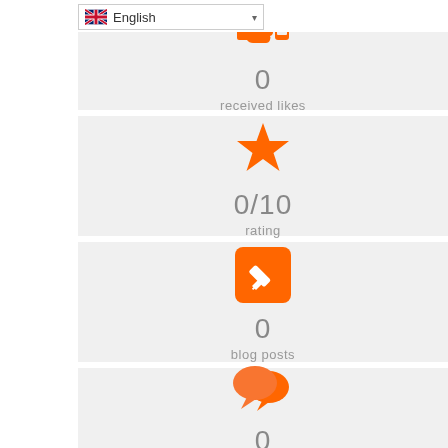[Figure (screenshot): Language selector dropdown showing English with UK flag]
[Figure (infographic): Thumbs up icon (orange) with value 0 and label 'received likes']
[Figure (infographic): Star icon (orange) with value 0/10 and label 'rating']
[Figure (infographic): Pencil/edit icon in orange square with value 0 and label 'blog posts']
[Figure (infographic): Speech bubbles icon (orange) with value 0 (partial, cut off at bottom)]